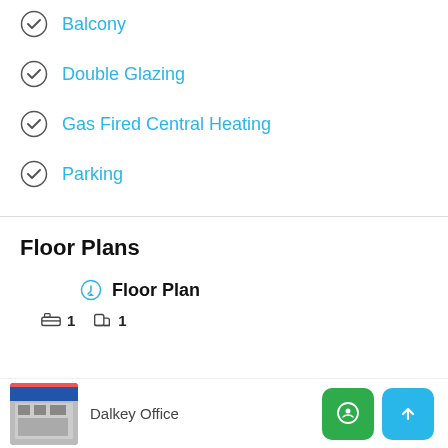Balcony
Double Glazing
Gas Fired Central Heating
Parking
Floor Plans
Floor Plan
1  1
Dalkey Office